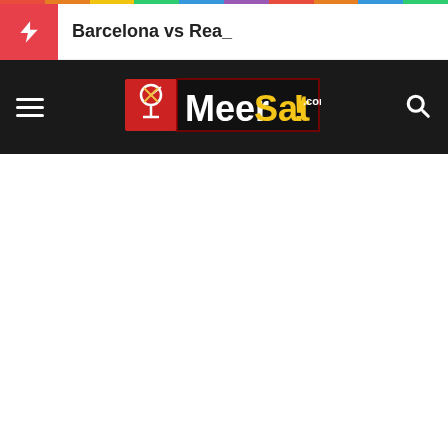Barcelona vs Rea_
[Figure (logo): MeerSat.com logo with satellite dish icon on red background, white text 'Meer' and yellow text 'Sat!' with .com]